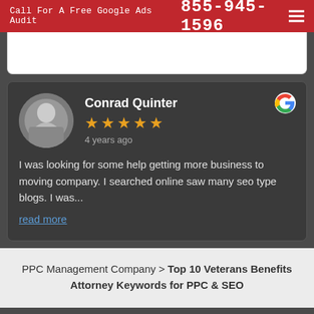Call For A Free Google Ads Audit  855-945-1596
[Figure (photo): Partial previous review card, white background]
[Figure (screenshot): Google review card with reviewer Conrad Quinter, 5 stars, 4 years ago. Review text: 'I was looking for some help getting more business to moving company. I searched online saw many seo type blogs. I was...' with a read more link.]
I was looking for some help getting more business to moving company. I searched online saw many seo type blogs. I was...
read more
PPC Management Company > Top 10 Veterans Benefits Attorney Keywords for PPC & SEO